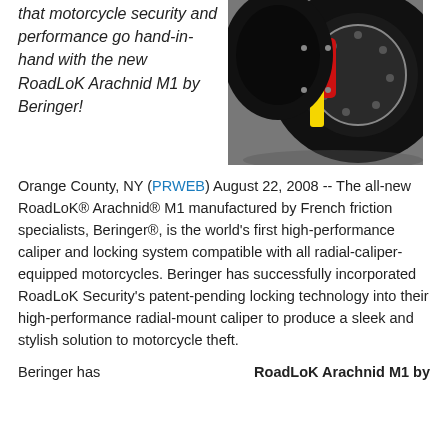that motorcycle security and performance go hand-in-hand with the new RoadLoK Arachnid M1 by Beringer!
[Figure (photo): Close-up photo of a motorcycle wheel with a red caliper and yellow tag security lock attached, on a dark surface.]
Orange County, NY (PRWEB) August 22, 2008 -- The all-new RoadLoK® Arachnid® M1 manufactured by French friction specialists, Beringer®, is the world's first high-performance caliper and locking system compatible with all radial-caliper-equipped motorcycles. Beringer has successfully incorporated RoadLoK Security's patent-pending locking technology into their high-performance radial-mount caliper to produce a sleek and stylish solution to motorcycle theft.
Beringer has
RoadLoK Arachnid M1 by